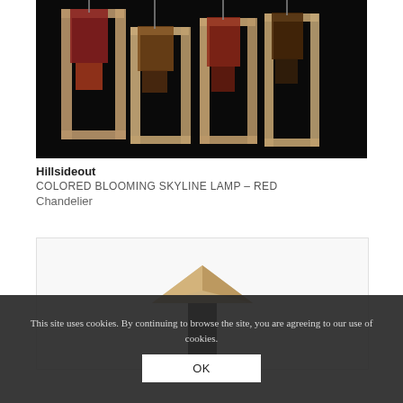[Figure (photo): Wooden frame chandelier with colored lamp shades (red tones) hanging against a black background — Hillsideout Colored Blooming Skyline Lamp]
Hillsideout
COLORED BLOOMING SKYLINE LAMP – RED
Chandelier
[Figure (photo): Partial view of a lamp or furniture item with a pyramidal wood top and dark base, shown against a light background]
This site uses cookies. By continuing to browse the site, you are agreeing to our use of cookies.
OK